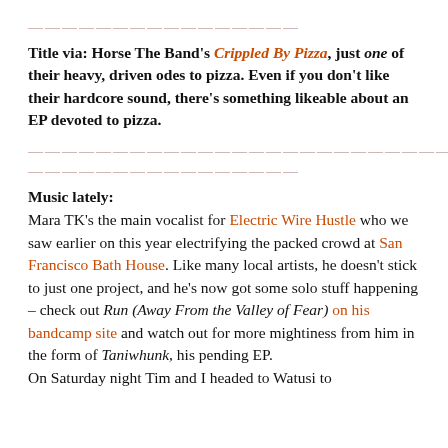——————————————
Title via: Horse The Band's Crippled By Pizza, just one of their heavy, driven odes to pizza. Even if you don't like their hardcore sound, there's something likeable about an EP devoted to pizza.
————————————————————————————————————————————————
——————————————
Music lately:
Mara TK's the main vocalist for Electric Wire Hustle who we saw earlier on this year electrifying the packed crowd at San Francisco Bath House. Like many local artists, he doesn't stick to just one project, and he's now got some solo stuff happening – check out Run (Away From the Valley of Fear) on his bandcamp site and watch out for more mightiness from him in the form of Taniwhunk, his pending EP.
On Saturday night Tim and I headed to Watusi to